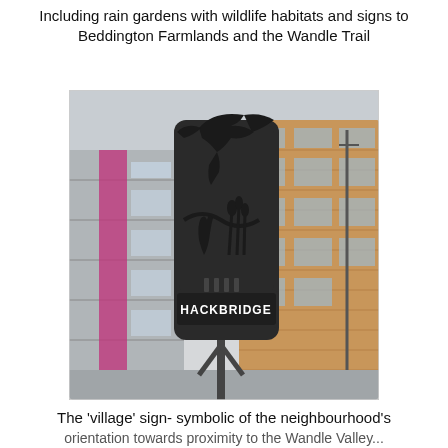Including rain gardens with wildlife habitats and signs to Beddington Farmlands and the Wandle Trail
[Figure (photo): Photograph of the Hackbridge village street sign - a decorative dark metal sign mounted on a pole featuring silhouettes of birds (including a large bird in flight) and wetland wildlife, with 'HACKBRIDGE' written on a panel at the bottom. Modern residential brick buildings are visible in the background.]
The 'village' sign- symbolic of the neighbourhood's orientation towards proximity to the Wandle Valley...